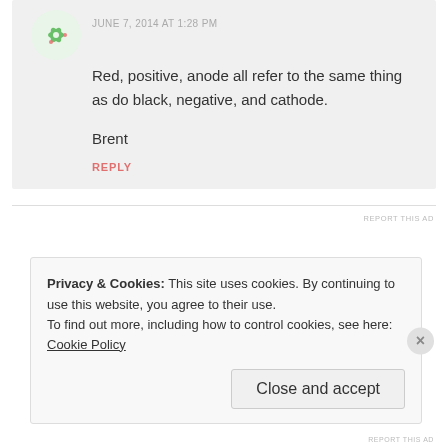JUNE 7, 2014 AT 1:28 PM
Red, positive, anode all refer to the same thing as do black, negative, and cathode.
Brent
REPLY
REPORT THIS AD
Privacy & Cookies: This site uses cookies. By continuing to use this website, you agree to their use.
To find out more, including how to control cookies, see here: Cookie Policy
Close and accept
REPORT THIS AD